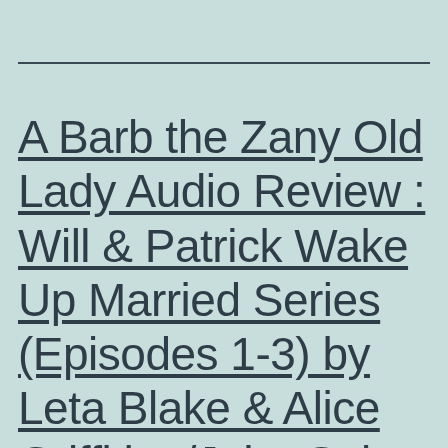A Barb the Zany Old Lady Audio Review : Will & Patrick Wake Up Married Series (Episodes 1-3) by Leta Blake & Alice Griffiths /John Solo (Narrator)